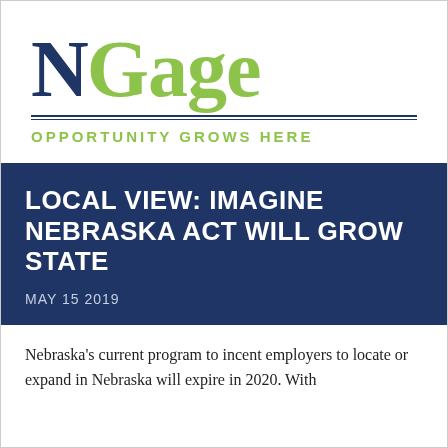[Figure (logo): NGage logo with 'N' in dark navy blue and 'Gage' in lime green, with horizontal divider lines and tagline 'OPPORTUNITY GROWS HERE' in lime green below]
LOCAL VIEW: IMAGINE NEBRASKA ACT WILL GROW STATE
MAY 15 2019
Nebraska's current program to incent employers to locate or expand in Nebraska will expire in 2020. With